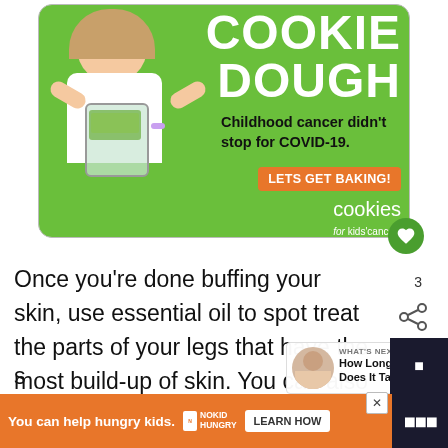[Figure (infographic): Cookie Dough fundraising ad for Cookies for Kids' Cancer. Green background with a girl holding a jar of money, text: COOKIE DOUGH, Childhood cancer didn't stop for COVID-19., LETS GET BAKING!, cookies for kids' cancer]
Once you're done buffing your skin, use essential oil to spot treat the parts of your legs that have the most build-up of skin. You can also apply the oil all over your le...
[Figure (infographic): What's Next panel showing How Long Does It Take... with a thumbnail of a person]
[Figure (infographic): Bottom banner ad: You can help hungry kids. NO KID HUNGRY. LEARN HOW]